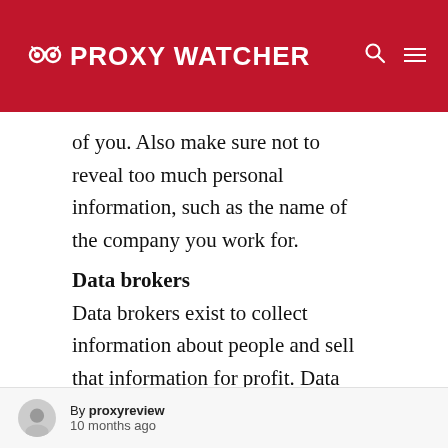PROXY WATCHER
of you. Also make sure not to reveal too much personal information, such as the name of the company you work for.
Data brokers
Data brokers exist to collect information about people and sell that information for profit. Data brokers gather their info from publicly available records (marriage licenses, DMV records, voter registration logs), loyalty cards (your online and offline buying behavior),
By proxyreview
10 months ago